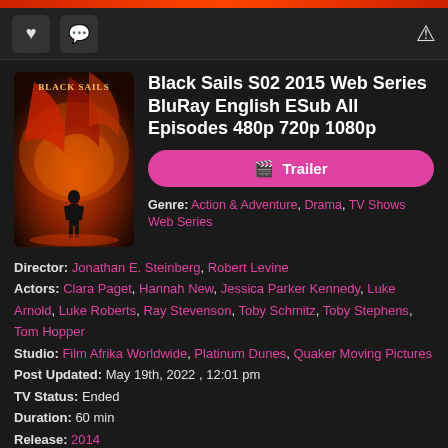[Figure (screenshot): Website header toolbar with heart icon, chat icon on left, warning triangle icon on right]
[Figure (photo): Black Sails TV series poster showing a dark figure standing against a dramatic red/orange sky with a ship's sail]
Black Sails S02 2015 Web Series BluRay English ESub All Episodes 480p 720p 1080p
Trailer
Genre: Action & Adventure, Drama, TV Shows Web Series
Director: Jonathan E. Steinberg, Robert Levine
Actors: Clara Paget, Hannah New, Jessica Parker Kennedy, Luke Arnold, Luke Roberts, Ray Stevenson, Toby Schmitz, Toby Stephens, Tom Hopper
Studio: Film Afrika Worldwide, Platinum Dunes, Quaker Moving Pictures
Post Updated: May 19th, 2022 , 12:01 pm
TV Status: Ended
Duration: 60 min
Release: 2014
Networks: Starz
The pirate adventures of Captain Flint and his men twenty years prior to Robert Louis Stevenson's classic "Treasure Island." Flint, the most brilliant and most feared pirate captain of his day, takes on a fast-talking young